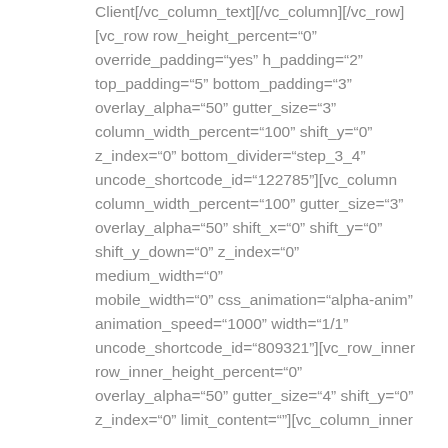Client[/vc_column_text][/vc_column][/vc_row][vc_row row_height_percent="0" override_padding="yes" h_padding="2" top_padding="5" bottom_padding="3" overlay_alpha="50" gutter_size="3" column_width_percent="100" shift_y="0" z_index="0" bottom_divider="step_3_4" uncode_shortcode_id="122785"][vc_column column_width_percent="100" gutter_size="3" overlay_alpha="50" shift_x="0" shift_y="0" shift_y_down="0" z_index="0" medium_width="0" mobile_width="0" css_animation="alpha-anim" animation_speed="1000" width="1/1" uncode_shortcode_id="809321"][vc_row_inner row_inner_height_percent="0" overlay_alpha="50" gutter_size="4" shift_y="0" z_index="0" limit_content=""][vc_column_inner